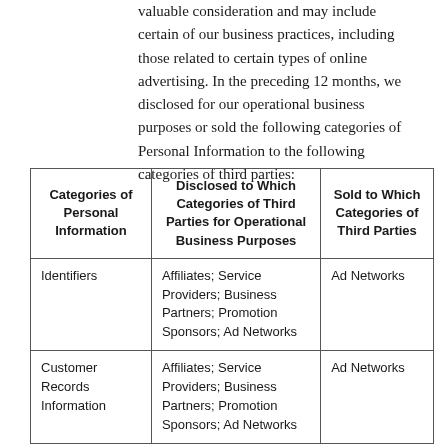valuable consideration and may include certain of our business practices, including those related to certain types of online advertising. In the preceding 12 months, we disclosed for our operational business purposes or sold the following categories of Personal Information to the following categories of third parties:
| Categories of Personal Information | Disclosed to Which Categories of Third Parties for Operational Business Purposes | Sold to Which Categories of Third Parties |
| --- | --- | --- |
| Identifiers | Affiliates; Service Providers; Business Partners; Promotion Sponsors; Ad Networks | Ad Networks |
| Customer Records Information | Affiliates; Service Providers; Business Partners; Promotion Sponsors; Ad Networks | Ad Networks |